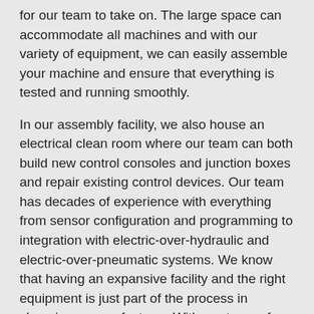for our team to take on. The large space can accommodate all machines and with our variety of equipment, we can easily assemble your machine and ensure that everything is tested and running smoothly.
In our assembly facility, we also house an electrical clean room where our team can both build new control consoles and junction boxes and repair existing control devices. Our team has decades of experience with everything from sensor configuration and programming to integration with electric-over-hydraulic and electric-over-pneumatic systems. We know that having an expansive facility and the right equipment is just part of the process in choosing a manufacturer. With our team of highly trained technicians, you can rest assured that each machine is handled with the utmost care.
With the expertise provided by our assembly team, no project is too small or too big. Leading the state as one of the best machine assembly companies in Oklahoma, Process Manufacturing can take care of